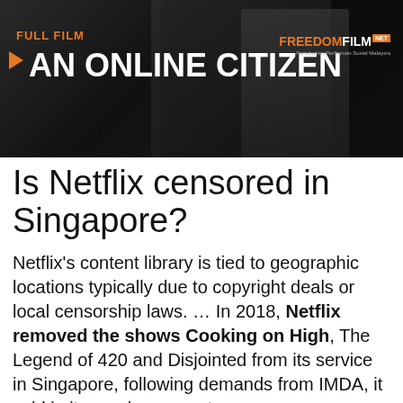[Figure (screenshot): Dark banner image with text overlay. Top-left shows 'FULL FILM' in orange and 'AN ONLINE CITIZEN' in large white bold text with a play arrow. Top-right shows 'FREEDOMFILM' logo with orange and white text and a net badge. Dark cinematic background.]
Is Netflix censored in Singapore?
Netflix's content library is tied to geographic locations typically due to copyright deals or local censorship laws. … In 2018, Netflix removed the shows Cooking on High, The Legend of 420 and Disjointed from its service in Singapore, following demands from IMDA, it said in its previous report.
What sites are banned in Singapore?